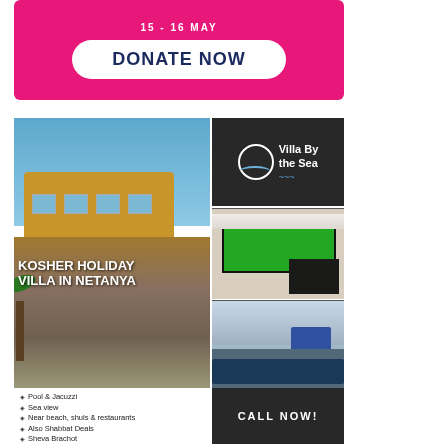[Figure (infographic): Pink donation banner with 'DONATE NOW' button in white rounded rectangle on hot pink background]
[Figure (infographic): Villa By the Sea advertisement for Kosher Holiday Villa in Netanya, Israel. Shows exterior villa photo, pool table interior, terrace photos, logo panel, and contact details. Features: Pool & Jacuzzi, Sea view, Near beach shuls & restaurants, Also Shabbat Deals, Sheva Brachot, Sleeps 22, Large Families, Yeshiva/Sem Groups, 2-3 Families Sharing. Contact: Penina +972 526223270, villasbythesea.p@gmail.com, http://www.vt.panovision.co.il/villa_netanya/villa_netanya.html]